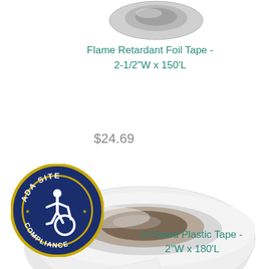[Figure (photo): Partial view of a tape roll at the top of the page, showing silver/white tape product from above]
Flame Retardant Foil Tape - 2-1/2"W x 150'L
$24.69
[Figure (photo): A roll of white single-faced plastic tape shown at an angle, with cardboard core visible, tape unrolling to the lower left]
[Figure (logo): ADA Site Compliance circular badge in dark blue and gold with wheelchair accessibility symbol]
e Faced Plastic Tape - 2"W x 180'L